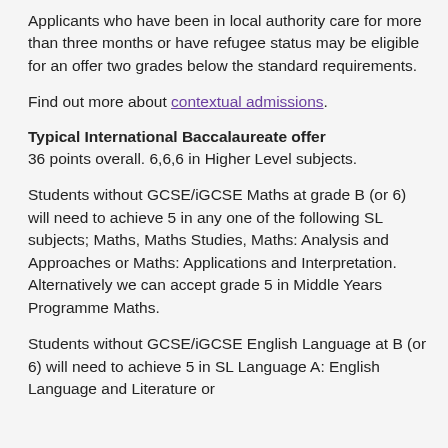Applicants who have been in local authority care for more than three months or have refugee status may be eligible for an offer two grades below the standard requirements.
Find out more about contextual admissions.
Typical International Baccalaureate offer
36 points overall. 6,6,6 in Higher Level subjects.
Students without GCSE/iGCSE Maths at grade B (or 6) will need to achieve 5 in any one of the following SL subjects; Maths, Maths Studies, Maths: Analysis and Approaches or Maths: Applications and Interpretation. Alternatively we can accept grade 5 in Middle Years Programme Maths.
Students without GCSE/iGCSE English Language at B (or 6) will need to achieve 5 in SL Language A: English Language and Literature or...